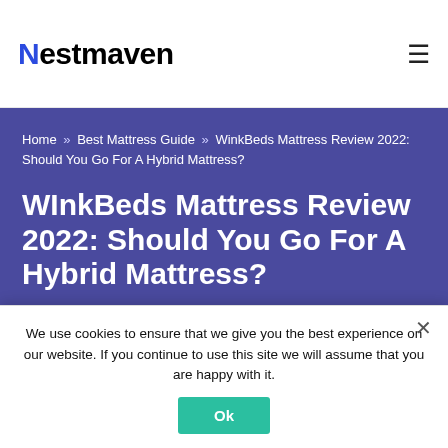Nestmaven
Home » Best Mattress Guide » WinkBeds Mattress Review 2022: Should You Go For A Hybrid Mattress?
WInkBeds Mattress Review 2022: Should You Go For A Hybrid Mattress?
An In-Depth Review of the WinkBeds Hybrid Memory Foam & Innerspring Mattress
We use cookies to ensure that we give you the best experience on our website. If you continue to use this site we will assume that you are happy with it.
Ok